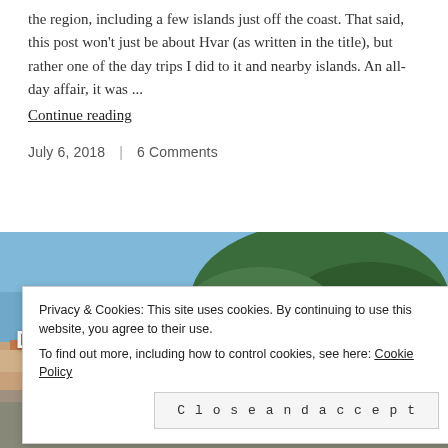the region, including a few islands just off the coast. That said, this post won't just be about Hvar (as written in the title), but rather one of the day trips I did to it and nearby islands. An all-day affair, it was ...
Continue reading
July 6, 2018  |  6 Comments
[Figure (photo): Aerial/elevated view of Split, Croatia coastal city with orange-roofed buildings, a harbor, and a green hill in the background under a blue sky]
Destination: Split, Croatia
Privacy & Cookies: This site uses cookies. By continuing to use this website, you agree to their use.
To find out more, including how to control cookies, see here: Cookie Policy
Close and accept